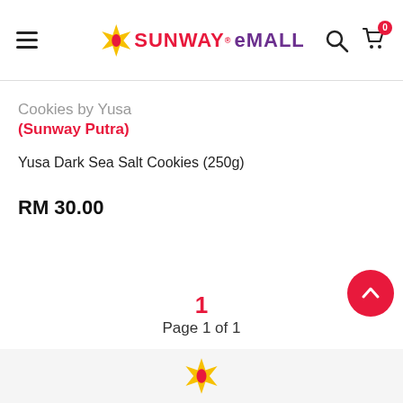Sunway eMALL — navigation header with hamburger menu, logo, search and cart icons
Cookies by Yusa (Sunway Putra)
Yusa Dark Sea Salt Cookies (250g)
RM 30.00
1
Page 1 of 1